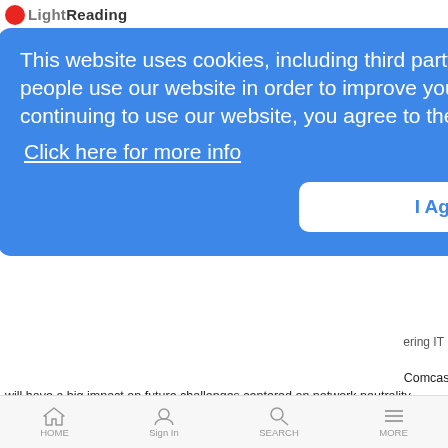Light Reading
3G/LTE
ces
ering IT
This website uses cookies, including third party ones, to allow for analysis of how people use our website in order to improve your experience and our services. By continuing to use our website, you agree to the use of such cookies. Click here for more info
I Agree
Comcast will have a big impact on future challenges centered on network neutrality
Alcatel-Lucent Launches Green Touch
LRTV Interviews | 1/12/2010
Ray Le Maistre talks to Ben Verwaayen, CEO of
[Figure (logo): GreenTouch logo — circular swirl design on beige/tan background with 'GreenTouch' text]
HOME   Sign In   SEARCH   MORE